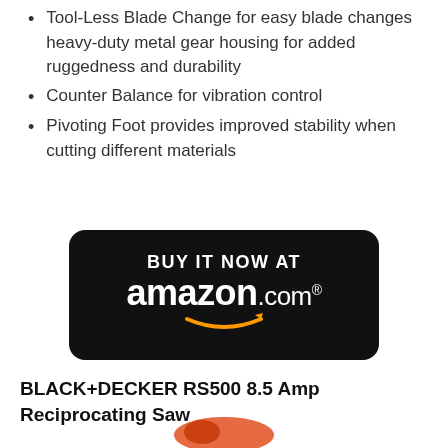Tool-Less Blade Change for easy blade changes heavy-duty metal gear housing for added ruggedness and durability
Counter Balance for vibration control
Pivoting Foot provides improved stability when cutting different materials
[Figure (logo): BUY IT NOW AT amazon.com button — black rounded rectangle with white text 'BUY IT NOW AT' and 'amazon.com' with orange smile arrow logo]
BLACK+DECKER RS500 8.5 Amp Reciprocating Saw
[Figure (photo): Partial view of a red/orange power tool at the bottom of the page]